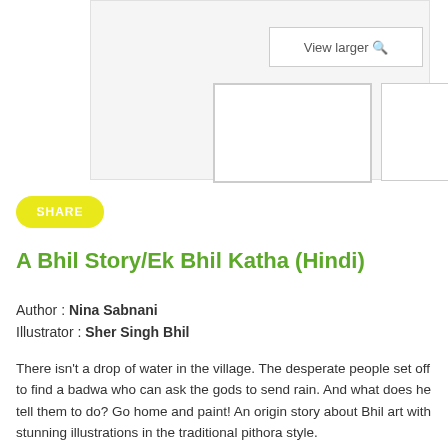[Figure (screenshot): Book cover thumbnail area with a light grey background, a 'View larger' button, and two smaller thumbnail images below.]
View larger 🔍
SHARE
A Bhil Story/Ek Bhil Katha (Hindi)
Author : Nina Sabnani
Illustrator : Sher Singh Bhil
There isn't a drop of water in the village. The desperate people set off to find a badwa who can ask the gods to send rain. And what does he tell them to do? Go home and paint! An origin story about Bhil art with stunning illustrations in the traditional pithora style.